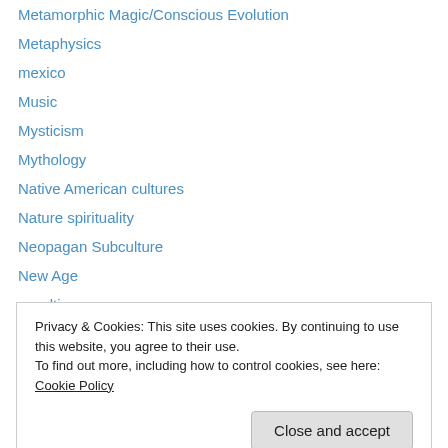Metamorphic Magic/Conscious Evolution
Metaphysics
mexico
Music
Mysticism
Mythology
Native American cultures
Nature spirituality
Neopagan Subculture
New Age
occultism
Oracle cards
Other Media
Privacy & Cookies: This site uses cookies. By continuing to use this website, you agree to their use.
To find out more, including how to control cookies, see here: Cookie Policy
Plants